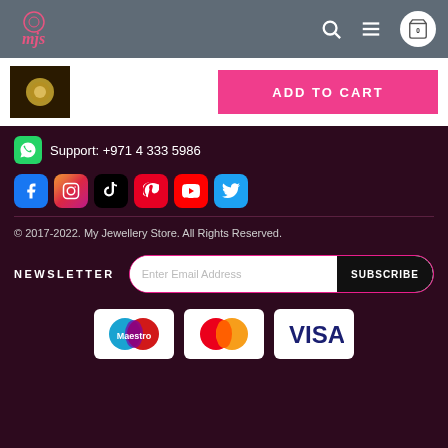MJS logo, search, menu, cart (0)
[Figure (photo): Small thumbnail of a gold jewellery pendant on dark background]
ADD TO CART
Support: +971 4 333 5986
[Figure (infographic): Social media icons: Facebook, Instagram, TikTok, Pinterest, YouTube, Twitter]
© 2017-2022. My Jewellery Store. All Rights Reserved.
NEWSLETTER  Enter Email Address  SUBSCRIBE
[Figure (infographic): Payment method logos: Maestro, Mastercard, Visa]